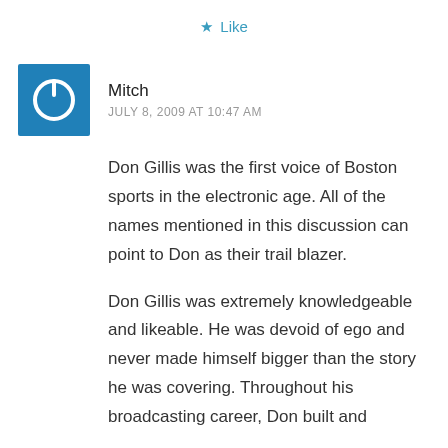★ Like
Mitch
JULY 8, 2009 AT 10:47 AM
Don Gillis was the first voice of Boston sports in the electronic age. All of the names mentioned in this discussion can point to Don as their trail blazer.
Don Gillis was extremely knowledgeable and likeable. He was devoid of ego and never made himself bigger than the story he was covering. Throughout his broadcasting career, Don built and